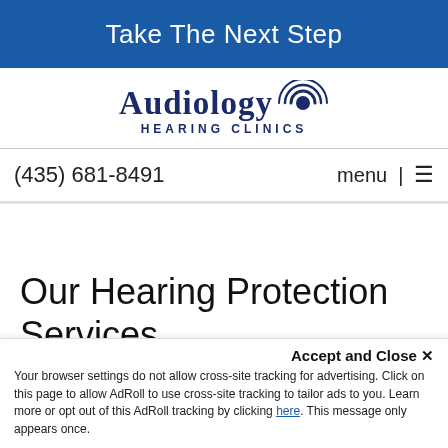Take The Next Step
[Figure (logo): Audiology Hearing Clinics logo with stylized sound wave icon]
(435) 681-8491
menu | ☰
Our Hearing Protection Services
Posted August 18, 2015 at 9:02 pm by Internet...
Accept and Close ✕ Your browser settings do not allow cross-site tracking for advertising. Click on this page to allow AdRoll to use cross-site tracking to tailor ads to you. Learn more or opt out of this AdRoll tracking by clicking here. This message only appears once.